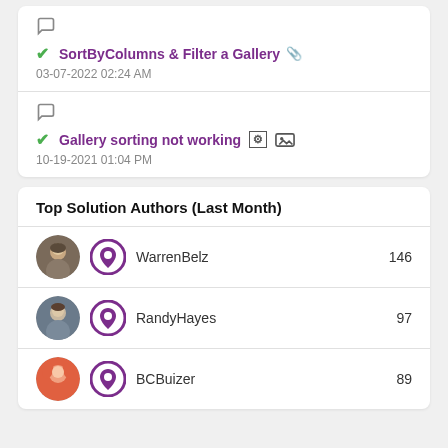✔ SortByColumns & Filter a Gallery
03-07-2022 02:24 AM
✔ Gallery sorting not working
10-19-2021 01:04 PM
Top Solution Authors (Last Month)
| User | Badge | Name | Score |
| --- | --- | --- | --- |
| [avatar] | [badge] | WarrenBelz | 146 |
| [avatar] | [badge] | RandyHayes | 97 |
| [avatar] | [badge] | BCBuizer | 89 |